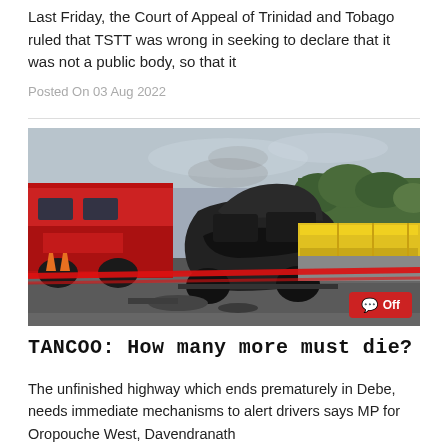Last Friday, the Court of Appeal of Trinidad and Tobago ruled that TSTT was wrong in seeking to declare that it was not a public body, so that it
Posted On 03 Aug 2022
[Figure (photo): A burned-out vehicle wreck on a highway, with a red fire truck on the left and yellow highway barriers on the right. Police tape in the foreground. Trees visible in the background under an overcast sky. A red badge in the bottom-right reads 'Off' with a comment icon.]
TANCOO: How many more must die?
The unfinished highway which ends prematurely in Debe, needs immediate mechanisms to alert drivers says MP for Oropouche West, Davendranath